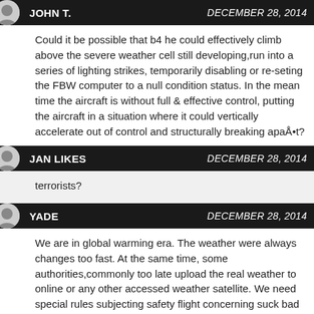JOHN T. — DECEMBER 28, 2014
Could it be possible that b4 he could effectively climb above the severe weather cell still developing,run into a series of lighting strikes, temporarily disabling or re-seting the FBW computer to a null condition status. In the mean time the aircraft is without full & effective control, putting the aircraft in a situation where it could vertically accelerate out of control and structurally breaking apaÅ•t?
JAN LIKES — DECEMBER 28, 2014
terrorists?
YADE — DECEMBER 28, 2014
We are in global warming era. The weather were always changes too fast. At the same time, some authorities,commonly too late upload the real weather to online or any other accessed weather satellite. We need special rules subjecting safety flight concerning suck bad weather situation to avoid or prevent all of thoose potentials and fatally damage.